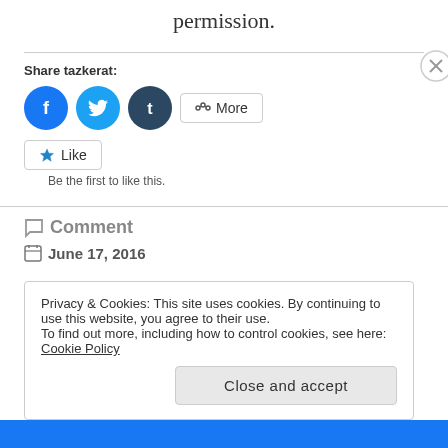permission.
Share tazkerat:
[Figure (other): Social share buttons: Facebook (blue circle), Twitter (light blue circle), Tumblr (dark circle), and a More button]
[Figure (other): Like button with star icon]
Be the first to like this.
Comment
June 17, 2016
Privacy & Cookies: This site uses cookies. By continuing to use this website, you agree to their use. To find out more, including how to control cookies, see here: Cookie Policy
Close and accept